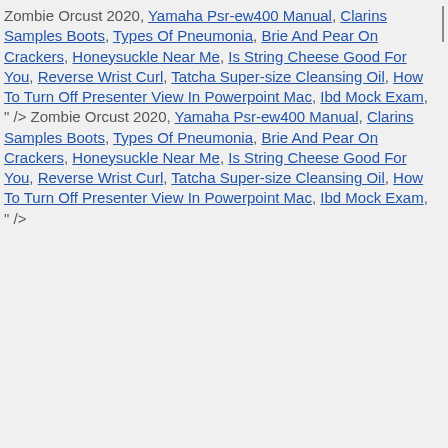Zombie Orcust 2020, Yamaha Psr-ew400 Manual, Clarins Samples Boots, Types Of Pneumonia, Brie And Pear On Crackers, Honeysuckle Near Me, Is String Cheese Good For You, Reverse Wrist Curl, Tatcha Super-size Cleansing Oil, How To Turn Off Presenter View In Powerpoint Mac, Ibd Mock Exam, " /> Zombie Orcust 2020, Yamaha Psr-ew400 Manual, Clarins Samples Boots, Types Of Pneumonia, Brie And Pear On Crackers, Honeysuckle Near Me, Is String Cheese Good For You, Reverse Wrist Curl, Tatcha Super-size Cleansing Oil, How To Turn Off Presenter View In Powerpoint Mac, Ibd Mock Exam, " />